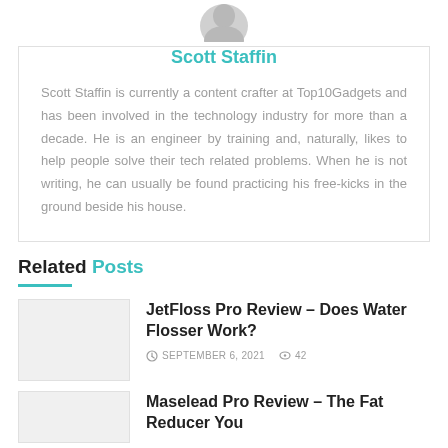[Figure (photo): Author avatar photo of Scott Staffin, partially visible at top]
Scott Staffin
Scott Staffin is currently a content crafter at Top10Gadgets and has been involved in the technology industry for more than a decade. He is an engineer by training and, naturally, likes to help people solve their tech related problems. When he is not writing, he can usually be found practicing his free-kicks in the ground beside his house.
Related Posts
JetFloss Pro Review – Does Water Flosser Work?
SEPTEMBER 6, 2021   42
Maselead Pro Review – The Fat Reducer You